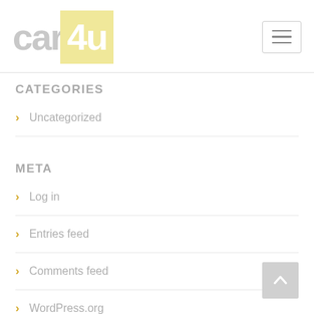[Figure (logo): car4u logo — 'car' in grey bold text and '4u' in white bold text on a yellow/cream square background]
CATEGORIES
Uncategorized
META
Log in
Entries feed
Comments feed
WordPress.org